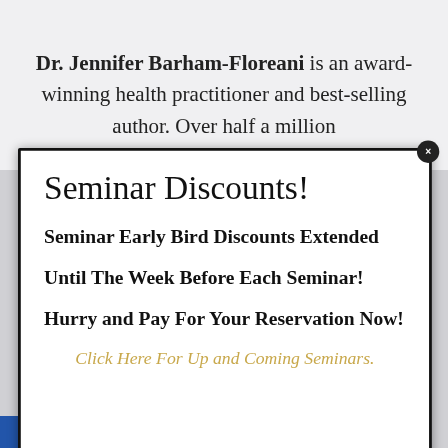Dr. Jennifer Barham-Floreani is an award-winning health practitioner and best-selling author. Over half a million
Seminar Discounts!
Seminar Early Bird Discounts Extended Until The Week Before Each Seminar!
Hurry and Pay For Your Reservation Now!
Click Here For Up and Coming Seminars.